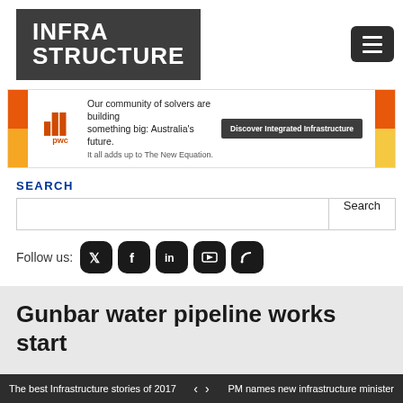[Figure (logo): INFRA STRUCTURE logo in white text on dark grey background, with a hamburger menu button on the right]
[Figure (infographic): PwC advertisement banner: 'Our community of solvers are building something big: Australia's future. It all adds up to The New Equation.' with a 'Discover Integrated Infrastructure' button, orange and red accents on sides]
SEARCH
Search input field and Search button
Follow us: [Twitter] [Facebook] [LinkedIn] [YouTube] [RSS]
Gunbar water pipeline works start
chris
December 19, 2017
The best Infrastructure stories of 2017 < > PM names new infrastructure minister